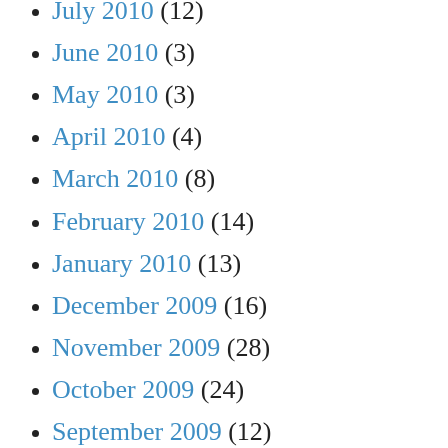July 2010 (12)
June 2010 (3)
May 2010 (3)
April 2010 (4)
March 2010 (8)
February 2010 (14)
January 2010 (13)
December 2009 (16)
November 2009 (28)
October 2009 (24)
September 2009 (12)
August 2009 (7)
July 2009 (10)
June 2009 (11)
May 2009 (22)
April 2009 (21)
March 2009 (18)